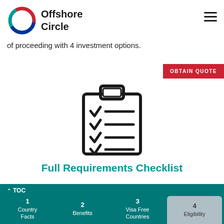Offshore Circle
of proceeding with 4 investment options.
[Figure (illustration): Clipboard icon with checkmarks and lines, representing a requirements checklist]
Full Requirements Checklist
TOC  1 Country Facts  2 Benefits  3 Visa Free Countries  4 Eligibility